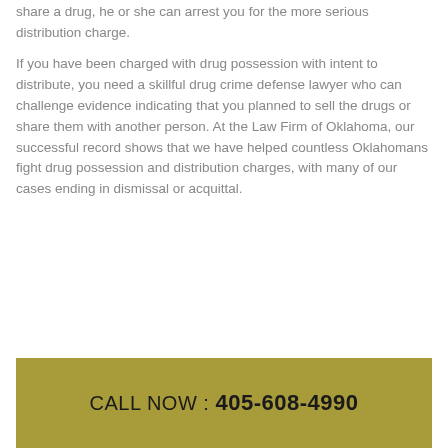share a drug, he or she can arrest you for the more serious distribution charge.
If you have been charged with drug possession with intent to distribute, you need a skillful drug crime defense lawyer who can challenge evidence indicating that you planned to sell the drugs or share them with another person. At the Law Firm of Oklahoma, our successful record shows that we have helped countless Oklahomans fight drug possession and distribution charges, with many of our cases ending in dismissal or acquittal.
CALL NOW : 405-608-4990